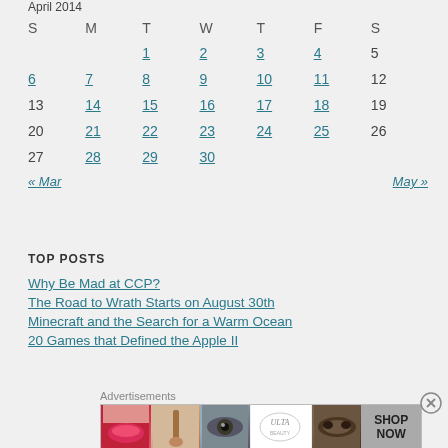April 2014
| S | M | T | W | T | F | S |
| --- | --- | --- | --- | --- | --- | --- |
|  |  | 1 | 2 | 3 | 4 | 5 |
| 6 | 7 | 8 | 9 | 10 | 11 | 12 |
| 13 | 14 | 15 | 16 | 17 | 18 | 19 |
| 20 | 21 | 22 | 23 | 24 | 25 | 26 |
| 27 | 28 | 29 | 30 |  |  |  |
« Mar   May »
TOP POSTS
Why Be Mad at CCP?
The Road to Wrath Starts on August 30th
Minecraft and the Search for a Warm Ocean
20 Games that Defined the Apple II
Advertisements
[Figure (photo): ULTA beauty advertisement banner with cosmetics imagery]